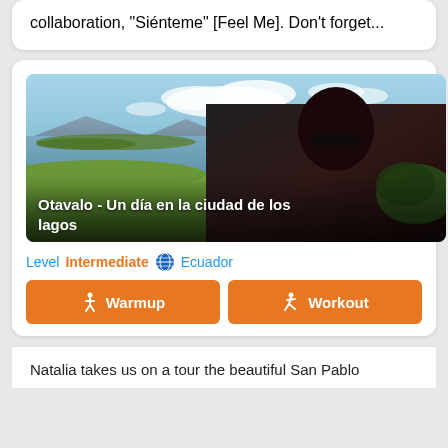collaboration, "Siénteme" [Feel Me]. Don't forget...
[Figure (photo): Video thumbnail showing a woman with curly hair and sunglasses outdoors near a lake/lagoon with green grass and mountains in background (Otavalo, Ecuador). Text overlay reads: Otavalo - Un día en la ciudad de los lagos]
Otavalo - Un día en la ciudad de los lagos
Level  Intermediate  🌐  Ecuador
🚶 Warmup    🏃 Workout
Natalia takes us on a tour the beautiful San Pablo